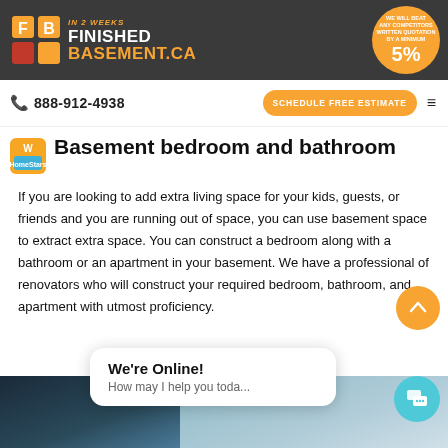FINISHED BASEMENT.CA IN 2 WEEKS — WE WILL BEAT ANY COMPETITORS WRITTEN QUOTATION BY A MINIMUM 5%
888-912-4938 | SCHEDULE FREE ESTIMATE
Basement bedroom and bathroom
If you are looking to add extra living space for your kids, guests, or friends and you are running out of space, you can use basement space to extract extra space. You can construct a bedroom along with a bathroom or an apartment in your basement. We have a professional of renovators who will construct your required bedroom, bathroom, and apartment with utmost proficiency.
[Figure (screenshot): Bottom strip showing a partial interior photo of a basement room]
We're Online!
How may I help you toda...